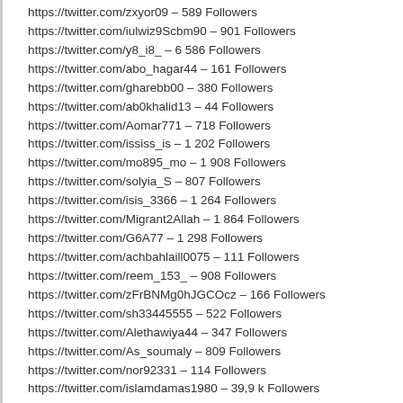https://twitter.com/zxyor09 – 589 Followers
https://twitter.com/iulwiz9Scbm90 – 901 Followers
https://twitter.com/y8_i8_ – 6 586 Followers
https://twitter.com/abo_hagar44 – 161 Followers
https://twitter.com/gharebb00 – 380 Followers
https://twitter.com/ab0khalid13 – 44 Followers
https://twitter.com/Aomar771 – 718 Followers
https://twitter.com/ississ_is – 1 202 Followers
https://twitter.com/mo895_mo – 1 908 Followers
https://twitter.com/solyia_S – 807 Followers
https://twitter.com/isis_3366 – 1 264 Followers
https://twitter.com/Migrant2Allah – 1 864 Followers
https://twitter.com/G6A77 – 1 298 Followers
https://twitter.com/achbahlaill0075 – 111 Followers
https://twitter.com/reem_153_ – 908 Followers
https://twitter.com/zFrBNMg0hJGCOcz – 166 Followers
https://twitter.com/sh33445555 – 522 Followers
https://twitter.com/Alethawiya44 – 347 Followers
https://twitter.com/As_soumaly – 809 Followers
https://twitter.com/nor92331 – 114 Followers
https://twitter.com/islamdamas1980 – 39,9 k Followers
https://twitter.com/HA_alshami03 – 2 532 Followers
https://twitter.com/jundi71033868 – 326 Followers
https://twitter.com/zzzzzx175 – 182 Followers
https://twitter.com/azdisis58 – 187 followers
https://twitter.com/tckfnfm1 – 1346 fo
https://twitter.com/ActGila71 – 97 followers